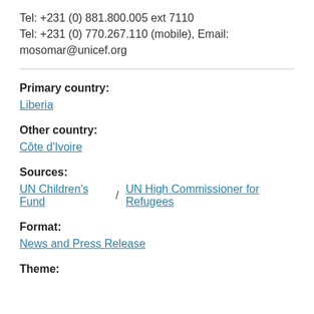Tel: +231 (0) 881.800.005 ext 7110
Tel: +231 (0) 770.267.110 (mobile), Email:
mosomar@unicef.org
Primary country:
Liberia
Other country:
Côte d'Ivoire
Sources:
UN Children's Fund  /  UN High Commissioner for Refugees
Format:
News and Press Release
Theme: